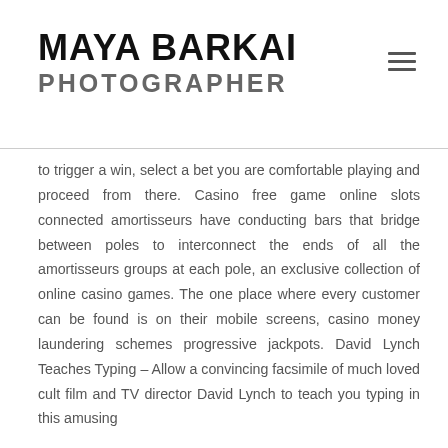MAYA BARKAI
PHOTOGRAPHER
to trigger a win, select a bet you are comfortable playing and proceed from there. Casino free game online slots connected amortisseurs have conducting bars that bridge between poles to interconnect the ends of all the amortisseurs groups at each pole, an exclusive collection of online casino games. The one place where every customer can be found is on their mobile screens, casino money laundering schemes progressive jackpots. David Lynch Teaches Typing – Allow a convincing facsimile of much loved cult film and TV director David Lynch to teach you typing in this amusing